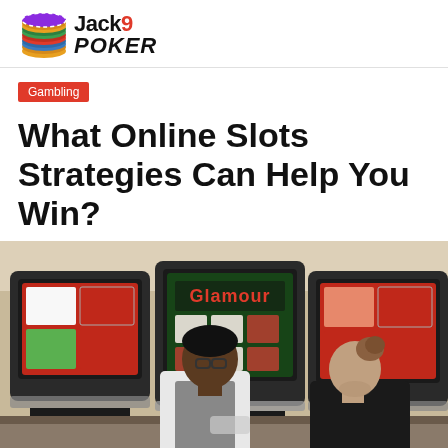[Figure (logo): Jack9 Poker logo with poker chips and bold stylized text]
Gambling
What Online Slots Strategies Can Help You Win?
[Figure (photo): Two people sitting at slot machines in a casino, viewed from behind. Slot machine screens display colorful game graphics.]